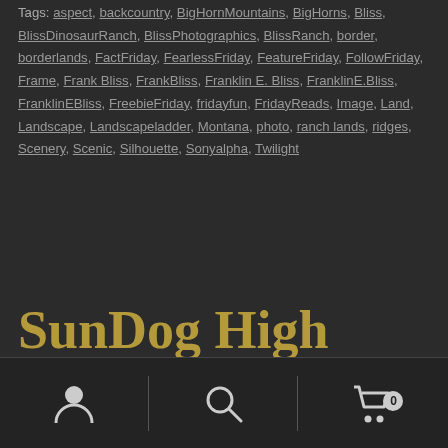Tags: aspect, backcountry, BigHornMountains, BigHorns, Bliss, BlissDinosaurRanch, BlissPhotographics, BlissRanch, border, borderlands, FactFriday, FearlessFriday, FeatureFriday, FollowFriday, Frame, Frank Bliss, FrankBliss, Franklin E. Bliss, FranklinE.Bliss, FranklinEBliss, FreebieFriday, fridayfun, FridayReads, Image, Land, Landscape, Landscapeladder, Montana, photo, ranch lands, ridges, Scenery, Scenic, Silhouette, Sonyalpha, Twilight
SunDog High Plains Sunset
User icon | Search icon | Cart icon with 0